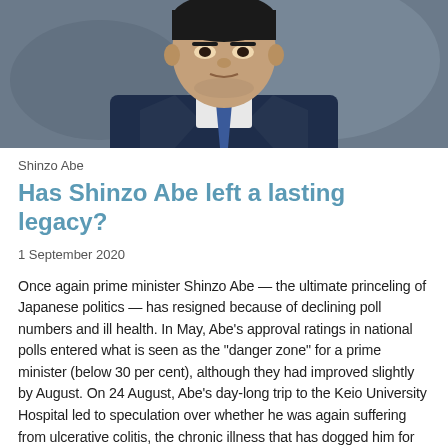[Figure (photo): Close-up photograph of Shinzo Abe, a man in a dark blue suit and blue tie, cropped to show face and upper torso against a blurred background.]
Shinzo Abe
Has Shinzo Abe left a lasting legacy?
1 September 2020
Once again prime minister Shinzo Abe — the ultimate princeling of Japanese politics — has resigned because of declining poll numbers and ill health. In May, Abe's approval ratings in national polls entered what is seen as the "danger zone" for a prime minister (below 30 per cent), although they had improved slightly by August. On 24 August, Abe's day-long trip to the Keio University Hospital led to speculation over whether he was again suffering from ulcerative colitis, the chronic illness that has dogged him for much of his life. On 28 August he announced his resignation.